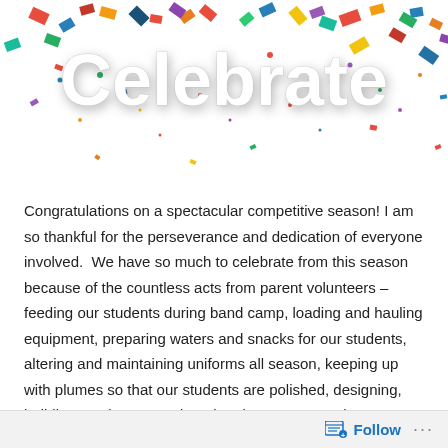[Figure (illustration): Colorful confetti celebration image with large white 3D text reading 'Celebrate' overlaid on scattered multicolored confetti pieces against a white background.]
Congratulations on a spectacular competitive season! I am so thankful for the perseverance and dedication of everyone involved.  We have so much to celebrate from this season because of the countless acts from parent volunteers – feeding our students during band camp, loading and hauling equipment, preparing waters and snacks for our students, altering and maintaining uniforms all season, keeping up with plumes so that our students are polished, designing, building, setting-up, and tearing down props so that our show is a step above the rest.  We have so much to celebrate because of our students believing in one another enough to encourage each other to do their best, to set higher goals, and not accept mediocrity even when they were just plain tired! I am so impressed by the level of enthusiasm,
Follow ···